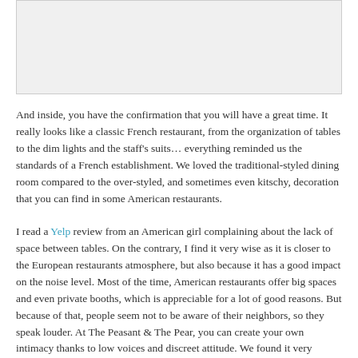[Figure (photo): Photo placeholder of restaurant interior]
And inside, you have the confirmation that you will have a great time. It really looks like a classic French restaurant, from the organization of tables to the dim lights and the staff's suits… everything reminded us the standards of a French establishment. We loved the traditional-styled dining room compared to the over-styled, and sometimes even kitschy, decoration that you can find in some American restaurants.
I read a Yelp review from an American girl complaining about the lack of space between tables. On the contrary, I find it very wise as it is closer to the European restaurants atmosphere, but also because it has a good impact on the noise level. Most of the time, American restaurants offer big spaces and even private booths, which is appreciable for a lot of good reasons. But because of that, people seem not to be aware of their neighbors, so they speak louder. At The Peasant & The Pear, you can create your own intimacy thanks to low voices and discreet attitude. We found it very pleasant.